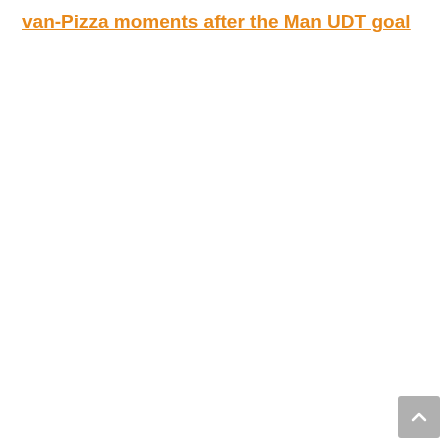van-Pizza moments after the Man UDT goal
[Figure (other): Scroll-to-top button in the bottom-right corner, grey square with an upward-pointing chevron arrow]